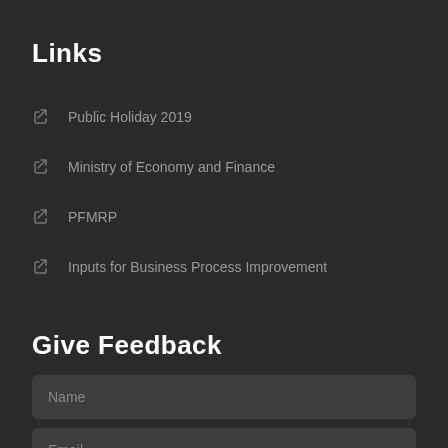Links
Public Holiday 2019
Ministry of Economy and Finance
PFMRP
Inputs for Business Process Improvement
Give Feedback
Name
Email
Subject